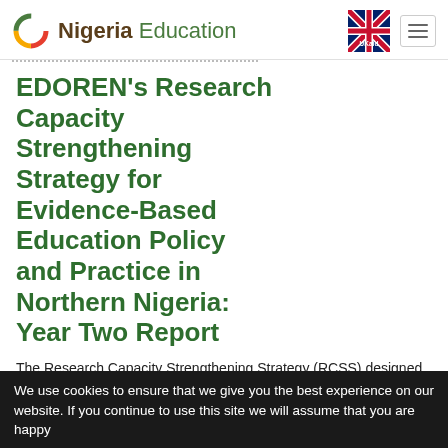Nigeria Education | UKaid
EDOREN's Research Capacity Strengthening Strategy for Evidence-Based Education Policy and Practice in Northern Nigeria: Year Two Report
The Research Capacity Strengthening Strategy (RCSS) designed by EDOREN provides
We use cookies to ensure that we give you the best experience on our website. If you continue to use this site we will assume that you are happy